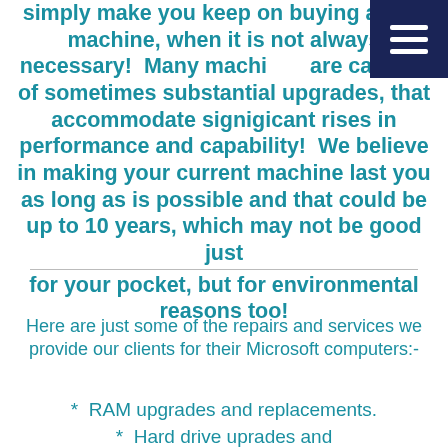simply make you keep on buying a new machine, when it is not always necessary!  Many machines are capable of sometimes substantial upgrades, that accommodate signigicant rises in performance and capability!  We believe in making your current machine last you as long as is possible and that could be up to 10 years, which may not be good just for your pocket, but for environmental reasons too!
Here are just some of the repairs and services we provide our clients for their Microsoft computers:-
*  RAM upgrades and replacements.
*  Hard drive uprades and